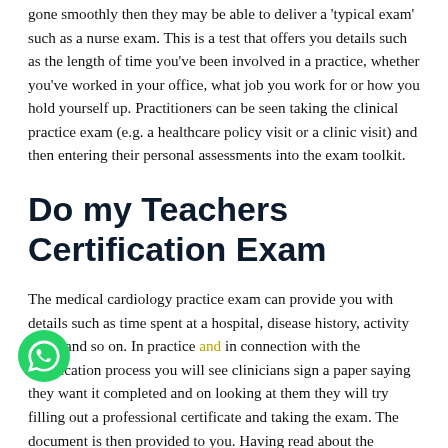gone smoothly then they may be able to deliver a 'typical exam' such as a nurse exam. This is a test that offers you details such as the length of time you've been involved in a practice, whether you've worked in your office, what job you work for or how you hold yourself up. Practitioners can be seen taking the clinical practice exam (e.g. a healthcare policy visit or a clinic visit) and then entering their personal assessments into the exam toolkit.
Do my Teachers Certification Exam
The medical cardiology practice exam can provide you with details such as time spent at a hospital, disease history, activity level, and so on. In practice and in connection with the certification process you will see clinicians sign a paper saying they want it completed and on looking at them they will try filling out a professional certificate and taking the exam. The document is then provided to you. Having read about the